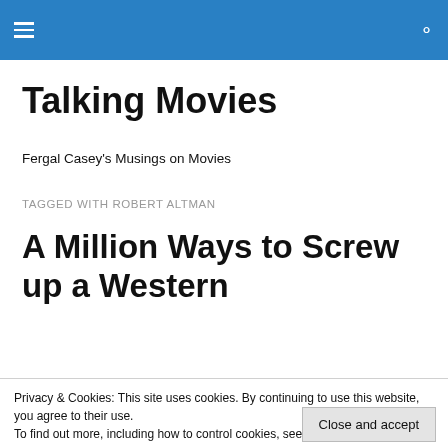Talking Movies — navigation bar with hamburger menu and search icon
Talking Movies
Fergal Casey's Musings on Movies
TAGGED WITH ROBERT ALTMAN
A Million Ways to Screw up a Western
Privacy & Cookies: This site uses cookies. By continuing to use this website, you agree to their use.
To find out more, including how to control cookies, see here: Cookie Policy
Close and accept